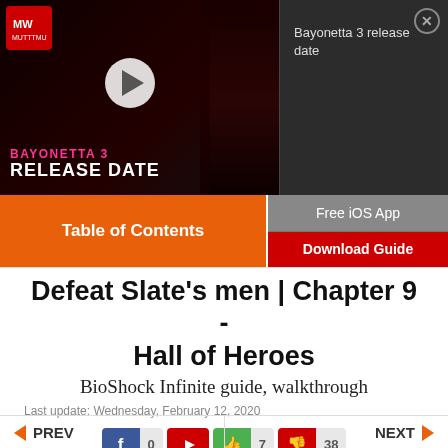[Figure (screenshot): Bayonetta 3 release date video ad banner with game character illustration, play button, MW logo, pink and white BAYONETTA 3 RELEASE DATE text overlay]
Bayonetta 3 release date
Table of Contents
Free iOS App
Download Guide
Defeat Slate's men | Chapter 9 - Hall of Heroes
BioShock Infinite guide, walkthrough
Last update: Wednesday, February 12, 2020
0  7  38
PREV
NEXT